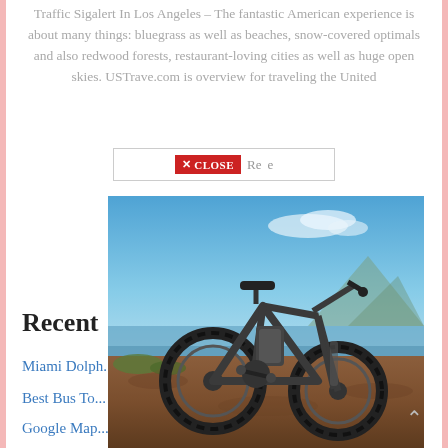Traffic Sigalert In Los Angeles – The fantastic American experience is about many things: bluegrass as well as beaches, snow-covered optimals and also redwood forests, restaurant-loving cities as well as huge open skies. USTrave.com is overview for traveling the United
[Figure (screenshot): A close button UI element: a red button with 'X CLOSE' text in white, overlaid on a dialog box with light gray border, with partial text 'R...e' visible beside it.]
[Figure (photo): Photo of a dark/gray fat-tire electric mountain bike parked on a rocky, reddish-brown terrain with a scenic blue sky and ocean/lake horizon in the background.]
Recent
Miami Dolph...
Best Bus To...
Google Map...